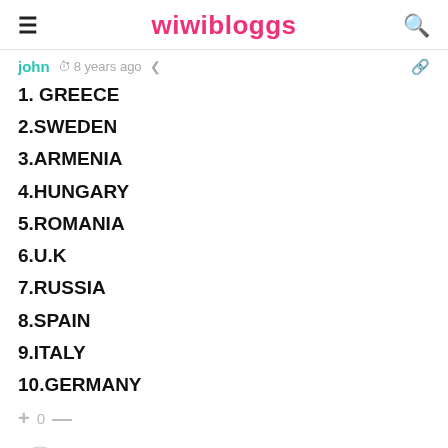wiwibloggs
john  8 years ago
1. GREECE
2.SWEDEN
3.ARMENIA
4.HUNGARY
5.ROMANIA
6.U.K
7.RUSSIA
8.SPAIN
9.ITALY
10.GERMANY
+ 0 —
[Figure (illustration): User avatar with bug/insect illustration in a circle]
AR  8 years ago
MY TOP 5